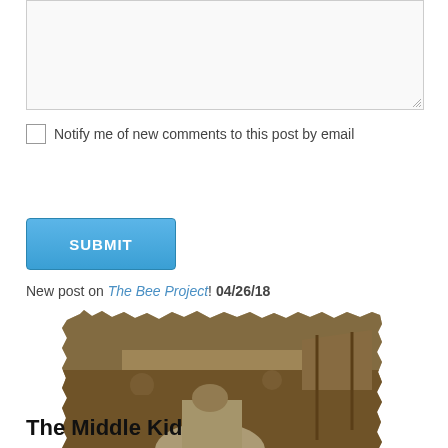[Figure (screenshot): A textarea input box with a resize handle at the bottom right, light gray background, with a thin border]
Notify me of new comments to this post by email
[Figure (screenshot): A blue Submit button with white uppercase text SUBMIT]
New post on The Bee Project! 04/26/18
[Figure (photo): A sepia-toned vintage-style photograph with torn/ragged edges showing people at what appears to be an outdoor event or fair, with a woman in a large white dress in the foreground and tents/canopy structures in the background]
The Middle Kid